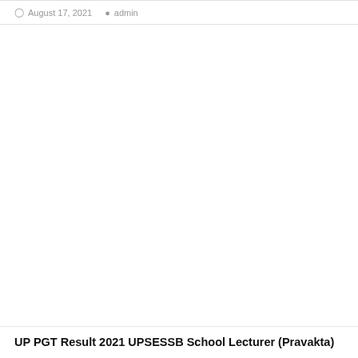August 17, 2021  admin
UP PGT Result 2021 UPSESSB School Lecturer (Pravakta)